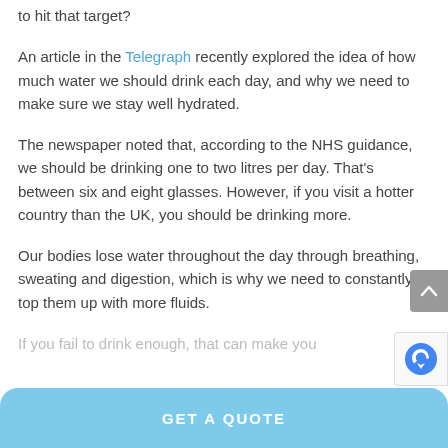to hit that target?
An article in the Telegraph recently explored the idea of how much water we should drink each day, and why we need to make sure we stay well hydrated.
The newspaper noted that, according to the NHS guidance, we should be drinking one to two litres per day. That's between six and eight glasses. However, if you visit a hotter country than the UK, you should be drinking more.
Our bodies lose water throughout the day through breathing, sweating and digestion, which is why we need to constantly top them up with more fluids.
If you fail to drink enough, that can make you…